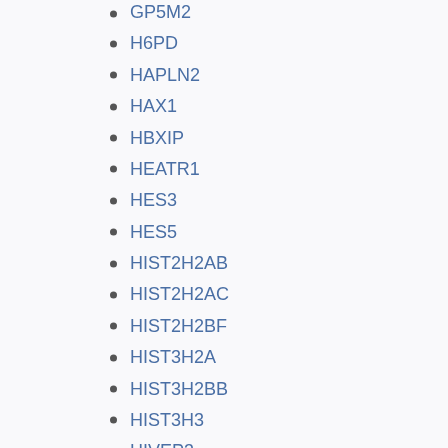GP5M2
H6PD
HAPLN2
HAX1
HBXIP
HEATR1
HES3
HES5
HIST2H2AB
HIST2H2AC
HIST2H2BF
HIST3H2A
HIST3H2BB
HIST3H3
HIVEP3